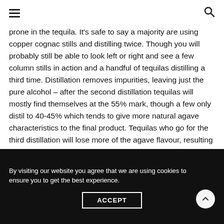☰ [menu] | [search]
prone in the tequila. It's safe to say a majority are using copper cognac stills and distilling twice. Though you will probably still be able to look left or right and see a few column stills in action and a handful of tequilas distilling a third time. Distillation removes impurities, leaving just the pure alcohol – after the second distillation tequilas will mostly find themselves at the 55% mark, though a few only distil to 40-45% which tends to give more natural agave characteristics to the final product. Tequilas who go for the third distillation will lose more of the agave flavour, resulting in a cleaner and lighter spirit.
By visiting our website you agree that we are using cookies to ensure you to get the best experience.
ACCEPT